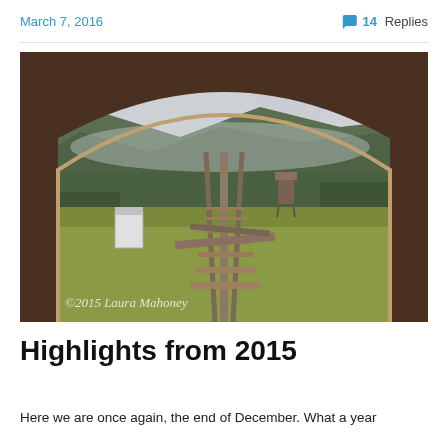March 7, 2016   💬 14 Replies
[Figure (photo): View through an arched wooden window frame of a mountain cog railway track junction, with a small white shed, a water tower, green hillsides and overcast sky. A watermark reads ©2015 Laura Mahoney.]
Highlights from 2015
Here we are once again, the end of December. What a year